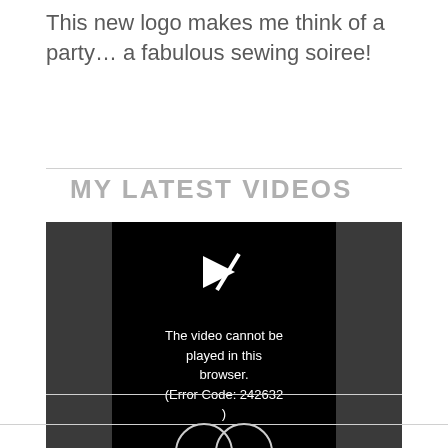This new logo makes me think of a party… a fabulous sewing soiree!
MY LATEST VIDEOS
[Figure (screenshot): Video player showing error: The video cannot be played in this browser. (Error Code: 242632)]